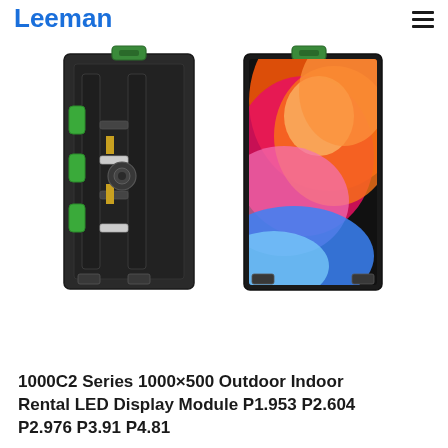Leeman
[Figure (photo): Two LED display panels side by side: left panel shows the back/frame with green mounting handles and mechanical structure; right panel shows the front with a colorful gradient display (orange, red, pink, blue swirl pattern). Both panels are the 1000C2 Series 1000×500 rental LED display module.]
1000C2 Series 1000×500 Outdoor Indoor Rental LED Display Module P1.953 P2.604 P2.976 P3.91 P4.81